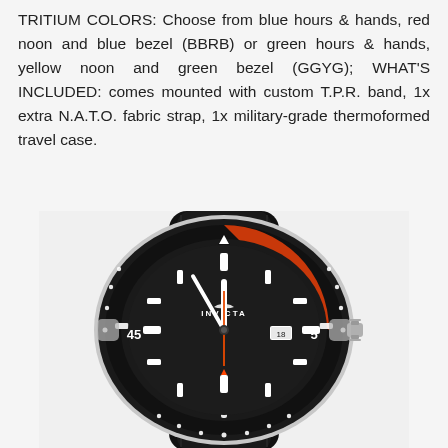TRITIUM COLORS: Choose from blue hours & hands, red noon and blue bezel (BBRB) or green hours & hands, yellow noon and green bezel (GGYG); WHAT'S INCLUDED: comes mounted with custom T.P.R. band, 1x extra N.A.T.O. fabric strap, 1x military-grade thermoformed travel case.
[Figure (photo): Invicta diver watch with black rubber band, black dial, orange and black bezel, INVICTA brand logo, orange seconds hand, date window, and side crown. Shown at an angle displaying '45' and '5' markers.]